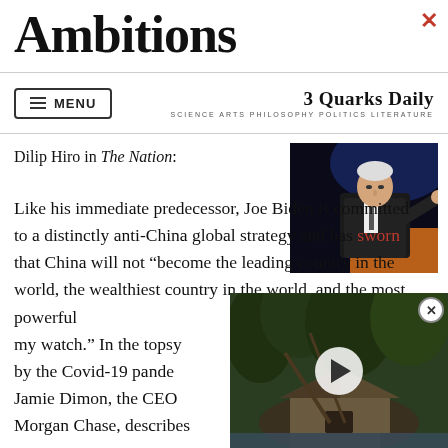Ambitions
3 Quarks Daily — SCIENCE ARTS PHILOSOPHY POLITICS LITERATURE
Dilip Hiro in The Nation:
[Figure (photo): Photo of Joe Biden pointing from a podium, dark background with blue/orange lighting]
Like his immediate predecessor, Joe Biden is committed to a distinctly anti-China global strategy and has sworn that China will not “become the leading country in the world, the wealthiest country in the world, and the most powerful my watch.” In the topsy by the Covid-19 pande Jamie Dimon, the CEO Morgan Chase, describes
[Figure (screenshot): Video overlay showing a forest/jungle scene with a thatched hut, with a play button in the center and a close button in the top right]